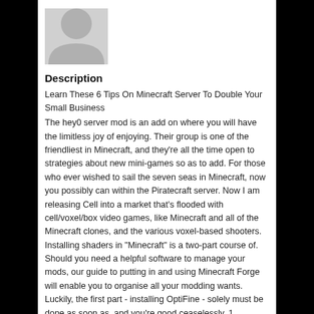[Figure (photo): Gray placeholder avatar/profile image silhouette]
Description
Learn These 6 Tips On Minecraft Server To Double Your Small Business
The hey0 server mod is an add on where you will have the limitless joy of enjoying. Their group is one of the friendliest in Minecraft, and they're all the time open to strategies about new mini-games so as to add. For those who ever wished to sail the seven seas in Minecraft, now you possibly can within the Piratecraft server. Now I am releasing Cell into a market that's flooded with cell/voxel/box video games, like Minecraft and all of the Minecraft clones, and the various voxel-based shooters. Installing shaders in "Minecraft" is a two-part course of. Should you need a helpful software to manage your mods, our guide to putting in and using Minecraft Forge will enable you to organise all your modding wants. Luckily, the first part - installing OptiFine - solely must be done as soon as, and you're good ceaselessly. 1. Download OptiFine from the web site's downloads web page, ensuring you select the OptiFine model that corresponds with the model of "Minecraft" you run. There are very minimal pay-to-